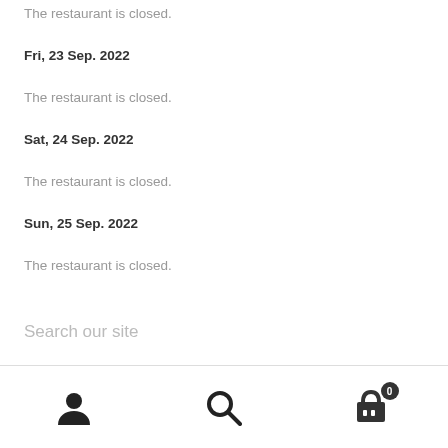The restaurant is closed.
Fri, 23 Sep. 2022
The restaurant is closed.
Sat, 24 Sep. 2022
The restaurant is closed.
Sun, 25 Sep. 2022
The restaurant is closed.
Search our site
Navigation bar with user, search, and cart icons